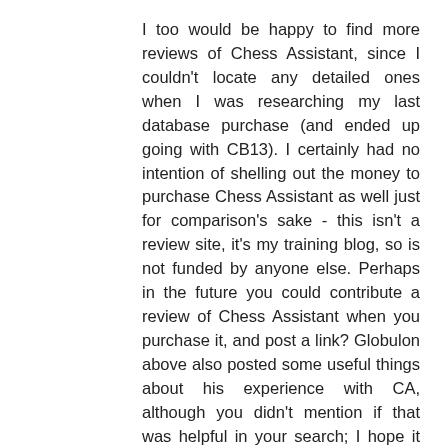I too would be happy to find more reviews of Chess Assistant, since I couldn't locate any detailed ones when I was researching my last database purchase (and ended up going with CB13). I certainly had no intention of shelling out the money to purchase Chess Assistant as well just for comparison's sake - this isn't a review site, it's my training blog, so is not funded by anyone else. Perhaps in the future you could contribute a review of Chess Assistant when you purchase it, and post a link? Globulon above also posted some useful things about his experience with CA, although you didn't mention if that was helpful in your search; I hope it was.
Re: the reported computer performance with CB12 vs. CB11, YMMV depending on your computer setup and the software's overhead and processor load. In 2012 I finally switched out of CB10 to CB11 and found that to be a significant upgrade in performance. I didn't see the point in purchasing CB12 when it came out, so didn't.